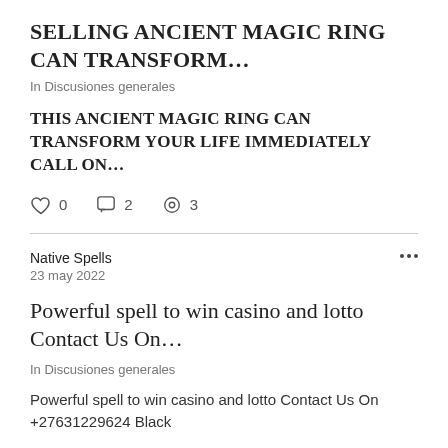SELLING ANCIENT MAGIC RING CAN TRANSFORM…
In Discusiones generales
THIS ANCIENT MAGIC RING CAN TRANSFORM YOUR LIFE IMMEDIATELY CALL ON…
0  2  3
Native Spells
23 may 2022
Powerful spell to win casino and lotto Contact Us On…
In Discusiones generales
Powerful spell to win casino and lotto Contact Us On +27631229624 Black